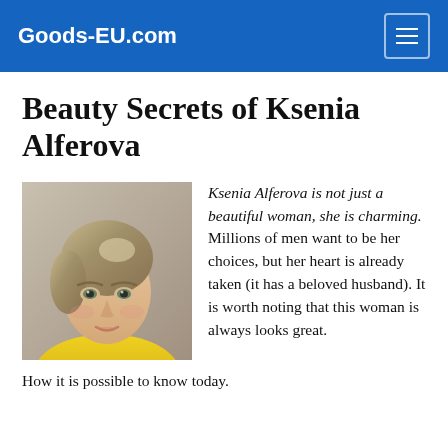Goods-EU.com
Beauty Secrets of Ksenia Alferova
[Figure (photo): Portrait photo of Ksenia Alferova, a woman with short blonde-brown hair wearing a yellow top, looking directly at camera]
Ksenia Alferova is not just a beautiful woman, she is charming. Millions of men want to be her choices, but her heart is already taken (it has a beloved husband). It is worth noting that this woman is always looks great. How it is possible to know today.